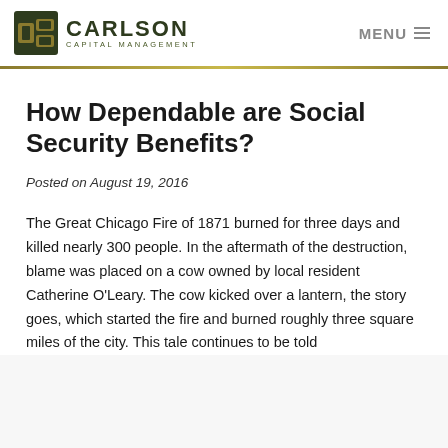CARLSON CAPITAL MANAGEMENT | MENU
How Dependable are Social Security Benefits?
Posted on August 19, 2016
The Great Chicago Fire of 1871 burned for three days and killed nearly 300 people. In the aftermath of the destruction, blame was placed on a cow owned by local resident Catherine O'Leary. The cow kicked over a lantern, the story goes, which started the fire and burned roughly three square miles of the city. This tale continues to be told